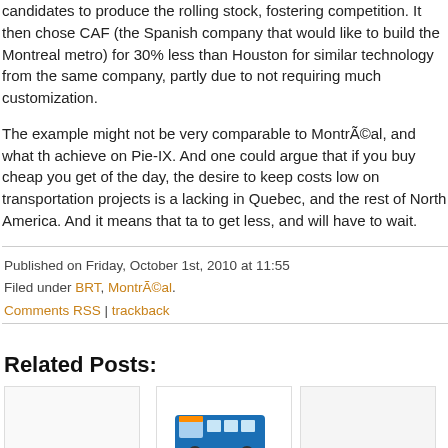candidates to produce the rolling stock, fostering competition. It then chose CAF (the Spanish company that would like to build the Montreal metro) for 30% less than Houston for similar technology from the same company, partly due to not requiring much customization.
The example might not be very comparable to Montréal, and what they achieve on Pie-IX. And one could argue that if you buy cheap you get... of the day, the desire to keep costs low on transportation projects is a... lacking in Quebec, and the rest of North America. And it means that ta... to get less, and will have to wait.
Published on Friday, October 1st, 2010 at 11:55
Filed under BRT, Montréal.
Comments RSS | trackback
Related Posts:
[Figure (photo): Empty white card placeholder for related post]
[Figure (photo): Photo of a blue bus with colourful swoosh graphic elements]
[Figure (photo): Empty light grey card placeholder for related post]